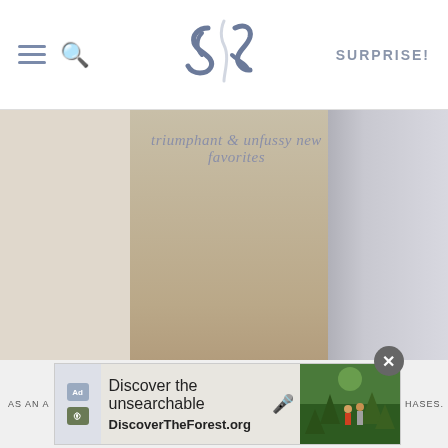Smitten Kitchen — SURPRISE!
[Figure (photo): Book cover of a Deb Perelman cookbook showing a Spanish tortilla on a plate with arugula, text reading 'triumphant & unfussy new favorites', 'DEB PERELMAN', 'new york times best-selling author'. The book is shown in a 3D perspective with a shadow/second cover visible on the right side.]
AS AN A... HASES.
[Figure (screenshot): Advertisement banner: 'Discover the unsearchable' with microphone icon, DiscoverTheForest.org, showing a photo of people hiking in a forest. Has Ad and government agency icons on the left, and a close (X) button in the top right.]